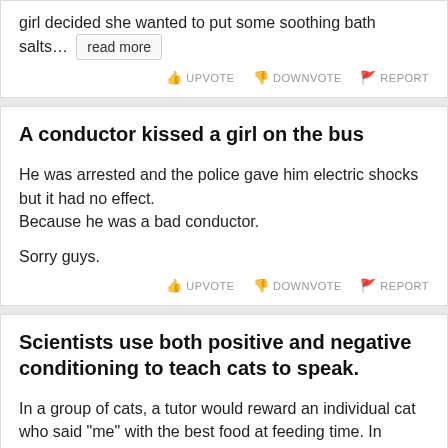girl decided she wanted to put some soothing bath salts… read more
UPVOTE  DOWNVOTE  REPORT
A conductor kissed a girl on the bus
He was arrested and the police gave him electric shocks but it had no effect.
Because he was a bad conductor.

Sorry guys.
UPVOTE  DOWNVOTE  REPORT
Scientists use both positive and negative conditioning to teach cats to speak.
In a group of cats, a tutor would reward an individual cat who said "me" with the best food at feeding time. In another experiment, a researcher would apply mild electric shocks to the subject cat until it said "ow".